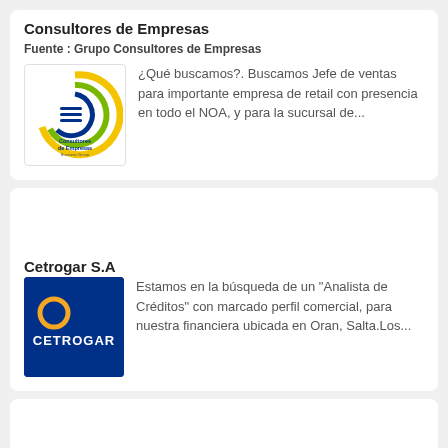Consultores de Empresas
Fuente : Grupo Consultores de Empresas
[Figure (logo): Consultores de Empresas Business Group logo — circular arrow icon in green/blue/yellow with company name below]
¿Qué buscamos?. Buscamos Jefe de ventas para importante empresa de retail con presencia en todo el NOA, y para la sucursal de...
Cetrogar S.A
[Figure (logo): Cetrogar logo — dark navy blue background with orange C symbol and CETROGAR text in white]
Estamos en la búsqueda de un "Analista de Créditos" con marcado perfil comercial, para nuestra financiera ubicada en Oran, Salta.Los...